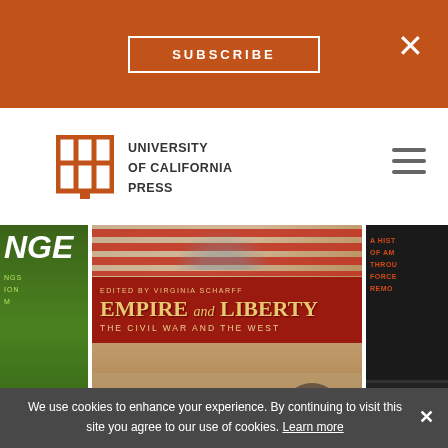SUBSCRIBE  ×
[Figure (logo): University of California Press logo — open book icon in burnt orange with text UNIVERSITY of CALIFORNIA PRESS]
[Figure (illustration): Three book covers shown in a horizontal carousel: left partial green cover (climate book), center 'Empire and Liberty: The Civil War and the West' edited by Virginia Scharff showing historical sepia photograph with American flag, right partial dark cover (history book)]
of Climate
Empire and Liberty
The D
We use cookies to enhance your experience. By continuing to visit this site you agree to our use of cookies. Learn more